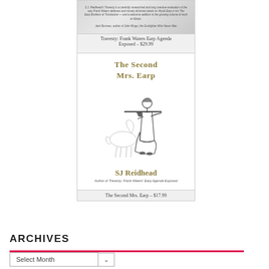[Figure (photo): Book cover thumbnail for 'Travesty: Frank Waters Earp Agenda Exposed' — partially visible top portion showing cover text and blurb]
Travesty: Frank Waters Earp Agenda Exposed – $29.99
[Figure (photo): Book cover for 'The Second Mrs. Earp' by SJ Reidhead. Cover features the title in gold serif font, an illustration of a woman in a long dress aiming a rifle, with a horse in the background. Author credit reads 'SJ Reidhead' and subtitle 'Author of Travesty: Frank Waters' Earp Agenda Exposed'.]
The Second Mrs. Earp – $17.99
ARCHIVES